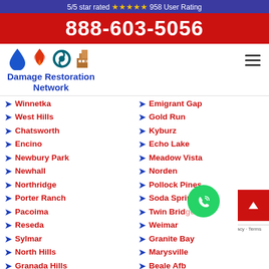5/5 star rated ⭐⭐⭐⭐⭐ 958 User Rating
888-603-5056
[Figure (logo): Damage Restoration Network logo with water drop, fire, hurricane, and building icons]
Winnetka
Emigrant Gap
West Hills
Gold Run
Chatsworth
Kyburz
Encino
Echo Lake
Newbury Park
Meadow Vista
Newhall
Norden
Northridge
Pollock Pines
Porter Ranch
Soda Springs
Pacoima
Twin Bridges
Reseda
Weimar
Sylmar
Granite Bay
North Hills
Marysville
Granada Hills
Beale Afb
Mission Hills
Alleghany